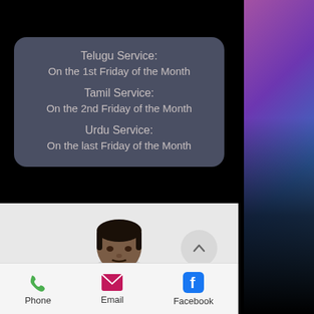Telugu Service:
On the 1st Friday of the Month
Tamil Service:
On the 2nd Friday of the Month
Urdu Service:
On the last Friday of the Month
[Figure (photo): Person's face in a circular crop, lower portion of face visible]
Phone
Email
Facebook